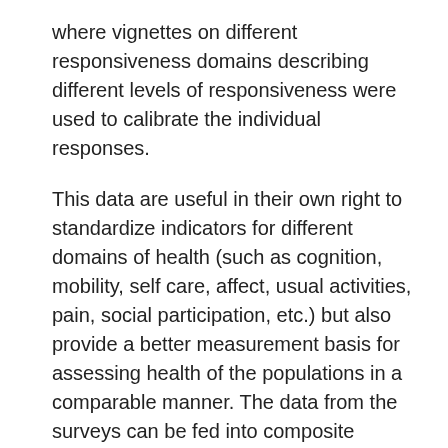where vignettes on different responsiveness domains describing different levels of responsiveness were used to calibrate the individual responses.
This data are useful in their own right to standardize indicators for different domains of health (such as cognition, mobility, self care, affect, usual activities, pain, social participation, etc.) but also provide a better measurement basis for assessing health of the populations in a comparable manner. The data from the surveys can be fed into composite measures such as "Healthy Life Expectancy" and improve the empirical data input for health information systems in different regions of the world. Data from the surveys were also useful to